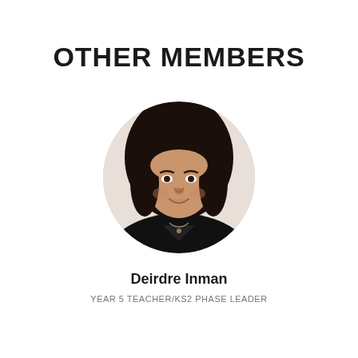OTHER MEMBERS
[Figure (photo): Circular headshot portrait of Deirdre Inman, a woman with dark shoulder-length hair wearing a black top, smiling, on a white background.]
Deirdre Inman
YEAR 5 TEACHER/KS2 PHASE LEADER